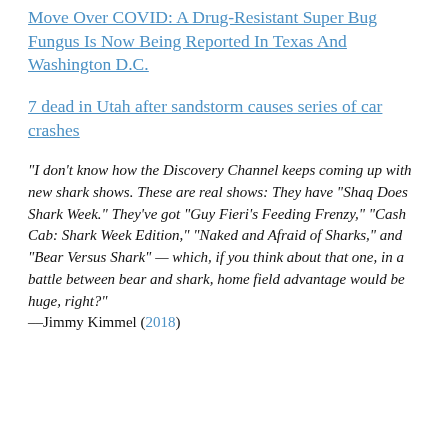Move Over COVID: A Drug-Resistant Super Bug Fungus Is Now Being Reported In Texas And Washington D.C.
7 dead in Utah after sandstorm causes series of car crashes
“I don’t know how the Discovery Channel keeps coming up with new shark shows. These are real shows: They have “Shaq Does Shark Week.” They’ve got “Guy Fieri’s Feeding Frenzy,” “Cash Cab: Shark Week Edition,” “Naked and Afraid of Sharks,” and “Bear Versus Shark” — which, if you think about that one, in a battle between bear and shark, home field advantage would be huge, right?”
––Jimmy Kimmel (2018)